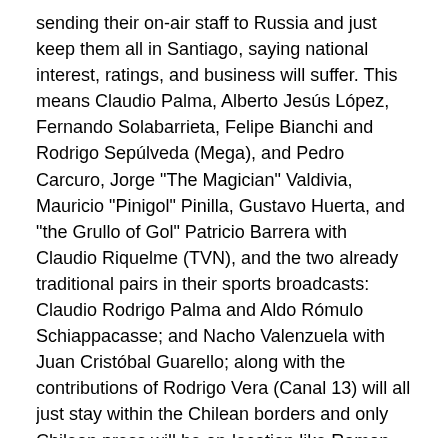sending their on-air staff to Russia and just keep them all in Santiago, saying national interest, ratings, and business will suffer. This means Claudio Palma, Alberto Jesús López, Fernando Solabarrieta, Felipe Bianchi and Rodrigo Sepúlveda (Mega), and Pedro Carcuro, Jorge "The Magician" Valdivia, Mauricio "Pinigol" Pinilla, Gustavo Huerta, and "the Grullo of Gol" Patricio Barrera with Claudio Riquelme (TVN), and the two already traditional pairs in their sports broadcasts: Claudio Rodrigo Palma and Aldo Rómulo Schiappacasse; and Nacho Valenzuela with Juan Cristóbal Guarello; along with the contributions of Rodrigo Vera (Canal 13) will all just stay within the Chilean borders and only Chilean press will be on-location like Ramon Ulloa for Canal 13. Not only that all three channels will carry the same 32 matches:
https://redgol.cl/2018/6/a-quien-elegiras-los-elencos-de-lujo-que-t/
The beloved Chilean soccer goalscoring duo that performed their magic 20 years ago along with the rest of their international careers, Ivan Zamarello and Marcelo Salas aka ZA-SA, are joined by their old golakeeper Nelson Tapia from the Cobreloa club as a